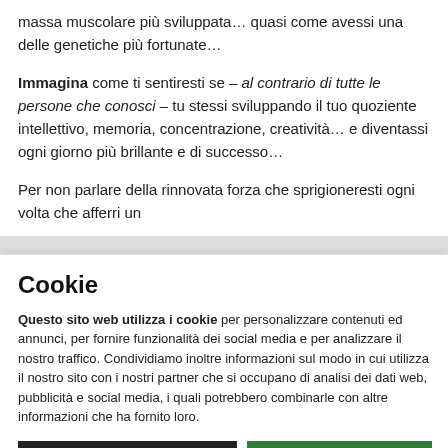massa muscolare più sviluppata… quasi come avessi una delle genetiche più fortunate…
Immagina come ti sentiresti se – al contrario di tutte le persone che conosci – tu stessi sviluppando il tuo quoziente intellettivo, memoria, concentrazione, creatività… e diventassi ogni giorno più brillante e di successo…
Per non parlare della rinnovata forza che sprigioneresti ogni volta che afferri un
Cookie
Questo sito web utilizza i cookie per personalizzare contenuti ed annunci, per fornire funzionalità dei social media e per analizzare il nostro traffico. Condividiamo inoltre informazioni sul modo in cui utilizza il nostro sito con i nostri partner che si occupano di analisi dei dati web, pubblicità e social media, i quali potrebbero combinarle con altre informazioni che ha fornito loro.
Usa solo i cookie necessari | Accetta tutti i cookie
Mostra dettagli ∨